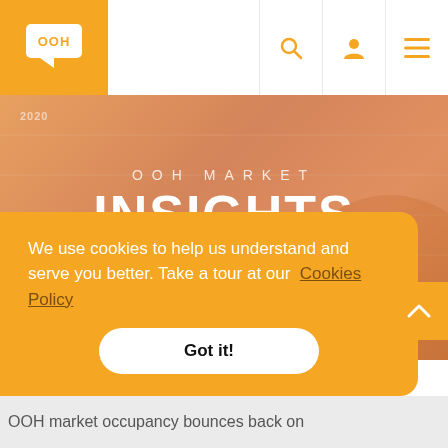[Figure (logo): OOH Today logo — orange speech bubble with OOH text and chat bubble icon on orange background]
[Figure (screenshot): OOH Market Insights February 2020 hero banner with orange gradient background, large white text reading OOH MARKET INSIGHTS and FEBRUARY 2020 in a bordered box]
We use cookies to help us understand and serve you better. Take a tour at our  Cookies Policy
Got it!
OOH market occupancy bounces back on